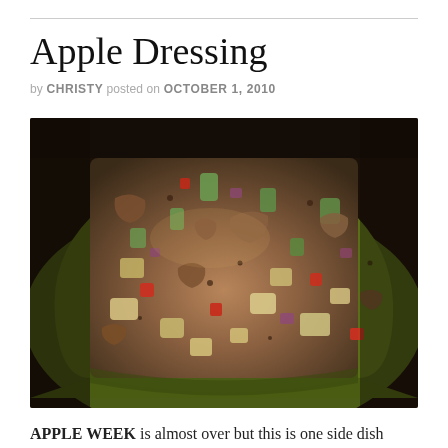Apple Dressing
by CHRISTY posted on OCTOBER 1, 2010
[Figure (photo): A green square baking dish filled with apple dressing - a mixture of diced apples, celery, red peppers, red onion, and seasoned bread or meat pieces, photographed close up from above at an angle.]
APPLE WEEK is almost over but this is one side dish you'll want to keep around, especially for the upcoming